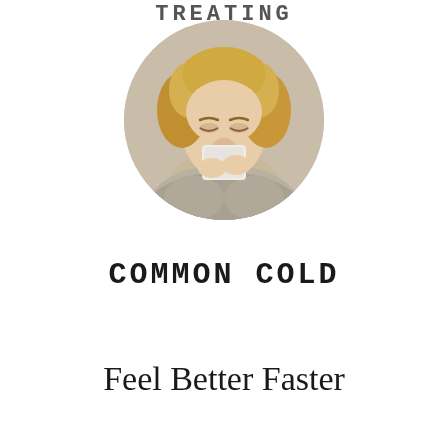TREATING
[Figure (photo): A woman with curly blonde hair blowing her nose into a tissue, wearing a knit scarf, shown in a circular cropped photo]
COMMON COLD
Feel Better Faster